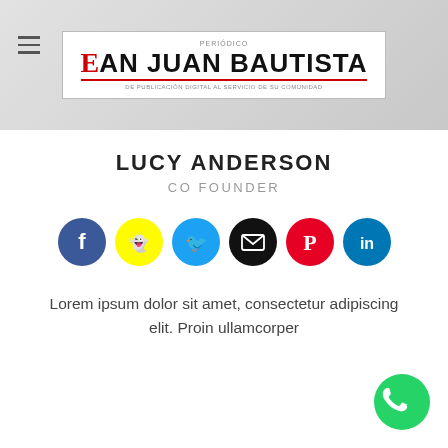San Juan Bautista — newspaper logo header
LUCY ANDERSON
CO FOUNDER
[Figure (illustration): Row of six social media circular icons: Facebook (dark blue), Snapchat (yellow), Twitter (blue), Email/envelope (black), Pinterest (red), LinkedIn (blue)]
Lorem ipsum dolor sit amet, consectetur adipiscing elit. Proin ullamcorper